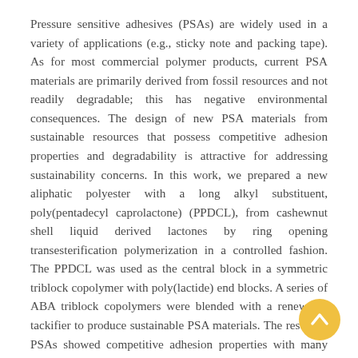Pressure sensitive adhesives (PSAs) are widely used in a variety of applications (e.g., sticky note and packing tape). As for most commercial polymer products, current PSA materials are primarily derived from fossil resources and not readily degradable; this has negative environmental consequences. The design of new PSA materials from sustainable resources that possess competitive adhesion properties and degradability is attractive for addressing sustainability concerns. In this work, we prepared a new aliphatic polyester with a long alkyl substituent, poly(pentadecyl caprolactone) (PPDCL), from cashewnut shell liquid derived lactones by ring opening transesterification polymerization in a controlled fashion. The PPDCL was used as the central block in a symmetric triblock copolymer with poly(lactide) end blocks. A series of ABA triblock copolymers were blended with a renewable tackifier to produce sustainable PSA materials. The resultant PSAs showed competitive adhesion properties with many common commercial adhesives. In addition, the ABA triblock copolymers hydrolytically degraded at 50 °C under acidic conditions suggesting they could be attractive as sustainable and degradable PSA materials.